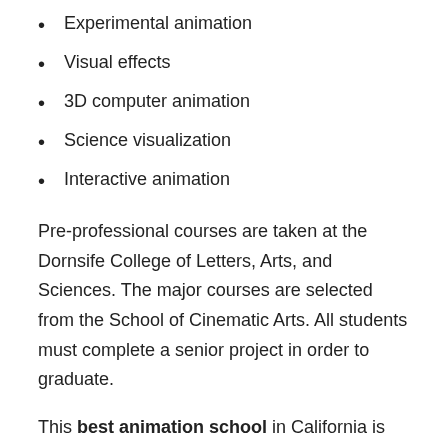Experimental animation
Visual effects
3D computer animation
Science visualization
Interactive animation
Pre-professional courses are taken at the Dornsife College of Letters, Arts, and Sciences. The major courses are selected from the School of Cinematic Arts. All students must complete a senior project in order to graduate.
This best animation school in California is accredited by the Western Association of Schools and Colleges. Art Clokey, clay animator and creator of “Gumby,” graduated from USC in 1956. George Lucas, the creator of “Star Wars,” is also a graduate of USC. Over 70% of USC